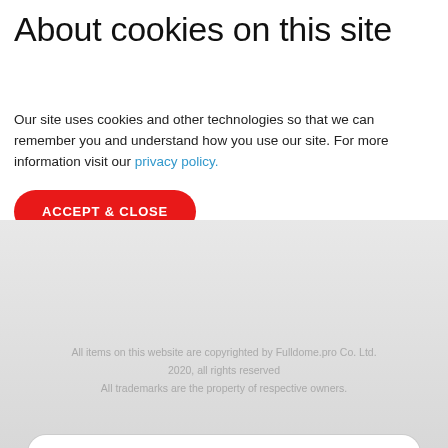About cookies on this site
Our site uses cookies and other technologies so that we can remember you and understand how you use our site. For more information visit our privacy policy.
ACCEPT & CLOSE
SUBSCRIBE
All items on this website are copyrighted by Fulldome.pro Co. Ltd. 2020, all rights reserved
All trademarks are the property of respective owners.